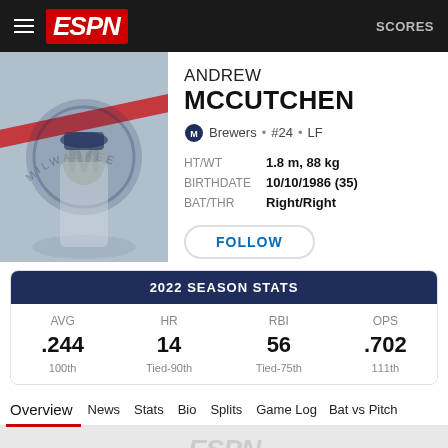ESPN   SCORES
ANDREW MCCUTCHEN
Brewers • #24 • LF
HT/WT  1.8 m, 88 kg
BIRTHDATE  10/10/1986 (35)
BAT/THR  Right/Right
FOLLOW
| AVG | HR | RBI | OPS |
| --- | --- | --- | --- |
| .244 | 14 | 56 | .702 |
| 100th | Tied-90th | Tied-75th | 111th |
2022 SEASON STATS
Overview   News   Stats   Bio   Splits   Game Log   Bat vs Pitch